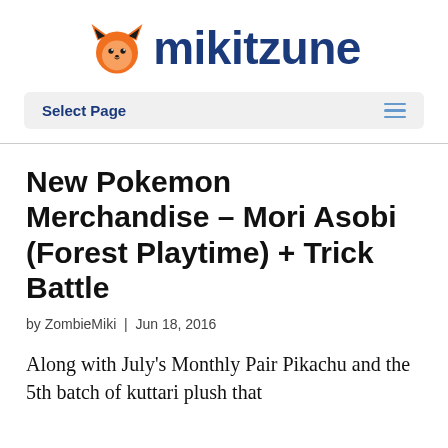[Figure (logo): Mikitzune logo with orange fox icon and dark blue rounded text reading 'Mikitzune']
Select Page
New Pokemon Merchandise – Mori Asobi (Forest Playtime) + Trick Battle
by ZombieMiki | Jun 18, 2016
Along with July's Monthly Pair Pikachu and the 5th batch of kuttari plush that